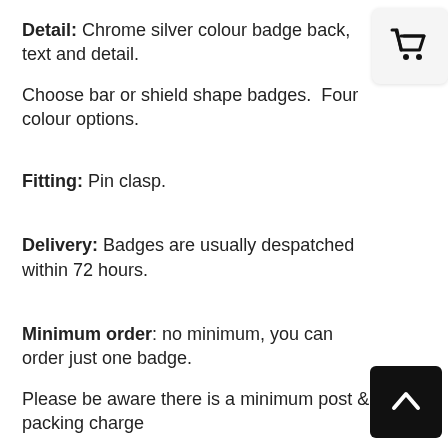Detail: Chrome silver colour badge back, text and detail.
Choose bar or shield shape badges.  Four colour options.
Fitting: Pin clasp.
Delivery: Badges are usually despatched within 72 hours.
Minimum order: no minimum, you can order just one badge.
Please be aware there is a minimum post & packing charge
per order.
[Figure (illustration): Shopping cart icon in a rounded square]
[Figure (illustration): Back to top arrow button, white chevron on black rounded square]